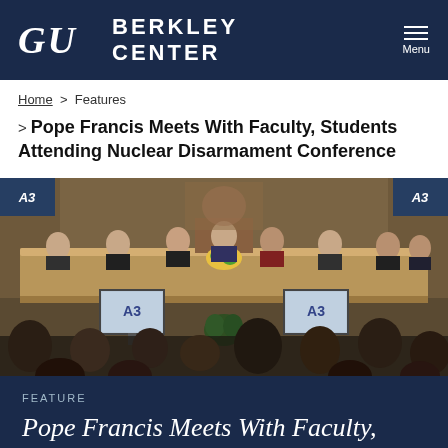GU  BERKLEY CENTER  Menu
Home > Features
> Pope Francis Meets With Faculty, Students Attending Nuclear Disarmament Conference
[Figure (photo): Conference room scene showing panel of officials seated at a long table in front of curtains, with audience members in foreground and two screens displaying a logo on either side]
FEATURE
Pope Francis Meets With Faculty, Students Attending Nuclear